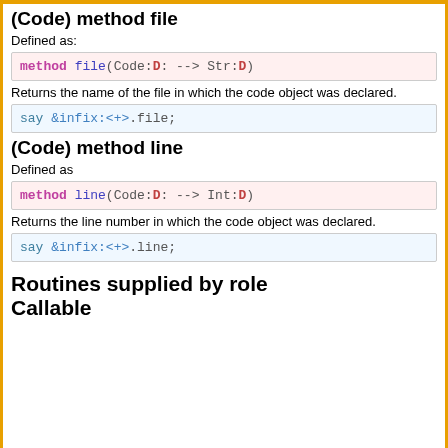(Code) method file
Defined as:
method file(Code:D: --> Str:D)
Returns the name of the file in which the code object was declared.
say &infix:<+>.file;
(Code) method line
Defined as
method line(Code:D: --> Int:D)
Returns the line number in which the code object was declared.
say &infix:<+>.line;
Routines supplied by role Callable